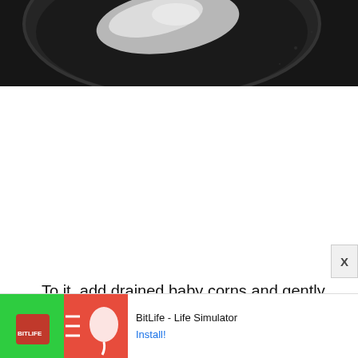[Figure (photo): A dark bowl or pan seen from above containing a white powder or mixture on a dark background]
To it, add drained baby corns and gently mix it. If the mix is slightly dry, add a teaspoon of water until the
[Figure (other): Advertisement banner for BitLife - Life Simulator app with football and sperm mascot icons and an Install button]